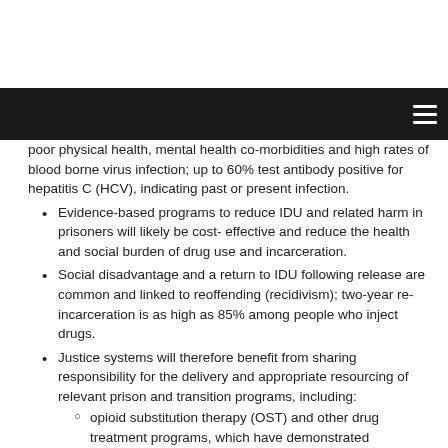poor physical health, mental health co-morbidities and high rates of blood borne virus infection; up to 60% test antibody positive for hepatitis C (HCV), indicating past or present infection.
Evidence-based programs to reduce IDU and related harm in prisoners will likely be cost- effective and reduce the health and social burden of drug use and incarceration.
Social disadvantage and a return to IDU following release are common and linked to reoffending (recidivism); two-year re-incarceration is as high as 85% among people who inject drugs.
Justice systems will therefore benefit from sharing responsibility for the delivery and appropriate resourcing of relevant prison and transition programs, including:
opioid substitution therapy (OST) and other drug treatment programs, which have demonstrated